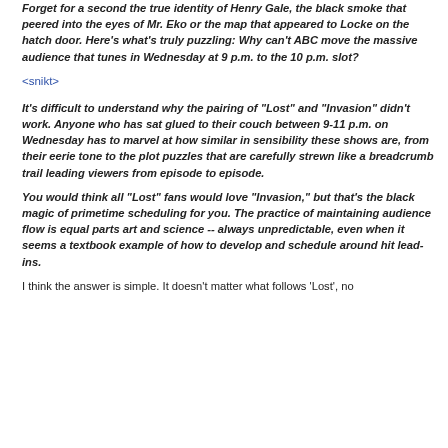Forget for a second the true identity of Henry Gale, the black smoke that peered into the eyes of Mr. Eko or the map that appeared to Locke on the hatch door. Here's what's truly puzzling: Why can't ABC move the massive audience that tunes in Wednesday at 9 p.m. to the 10 p.m. slot?
<snikt>
It's difficult to understand why the pairing of "Lost" and "Invasion" didn't work. Anyone who has sat glued to their couch between 9-11 p.m. on Wednesday has to marvel at how similar in sensibility these shows are, from their eerie tone to the plot puzzles that are carefully strewn like a breadcrumb trail leading viewers from episode to episode.
You would think all "Lost" fans would love "Invasion," but that's the black magic of primetime scheduling for you. The practice of maintaining audience flow is equal parts art and science -- always unpredictable, even when it seems a textbook example of how to develop and schedule around hit lead-ins.
I think the answer is simple. It doesn't matter what follows 'Lost', no